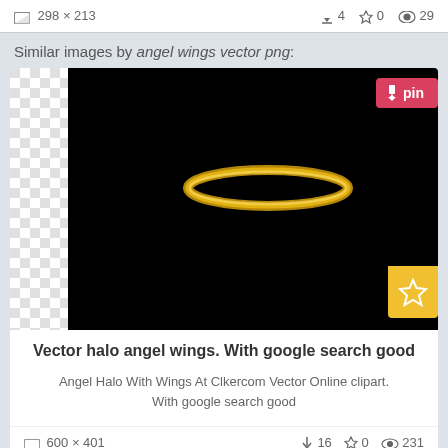298 × 213   ↓4  ☆0  👁29
Similar images by angel wings vector png:
[Figure (screenshot): Image card showing a golden halo on black background with checkerboard transparent areas, pin button top-right, star button right side]
Vector halo angel wings. With google search good
Angel Halo With Wings At Clkercom Vector Online clipart. With google search good
600 × 401   ↓16  ☆0  👁231
[Figure (screenshot): Partial next card showing angel wings with halo on black background, pin button top-right]